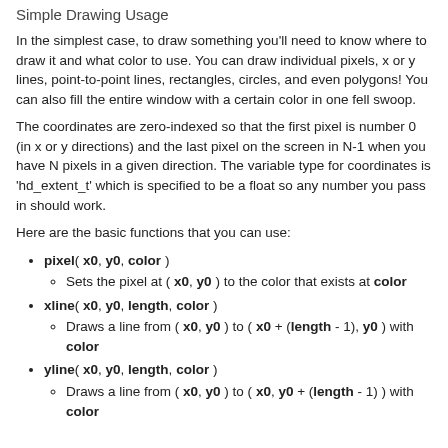Simple Drawing Usage
In the simplest case, to draw something you'll need to know where to draw it and what color to use. You can draw individual pixels, x or y lines, point-to-point lines, rectangles, circles, and even polygons! You can also fill the entire window with a certain color in one fell swoop.
The coordinates are zero-indexed so that the first pixel is number 0 (in x or y directions) and the last pixel on the screen in N-1 when you have N pixels in a given direction. The variable type for coordinates is 'hd_extent_t' which is specified to be a float so any number you pass in should work.
Here are the basic functions that you can use:
pixel( x0, y0, color )
Sets the pixel at ( x0, y0 ) to the color that exists at color
xline( x0, y0, length, color )
Draws a line from ( x0, y0 ) to ( x0 + (length - 1), y0 ) with color
yline( x0, y0, length, color )
Draws a line from ( x0, y0 ) to ( x0, y0 + (length - 1) ) with color